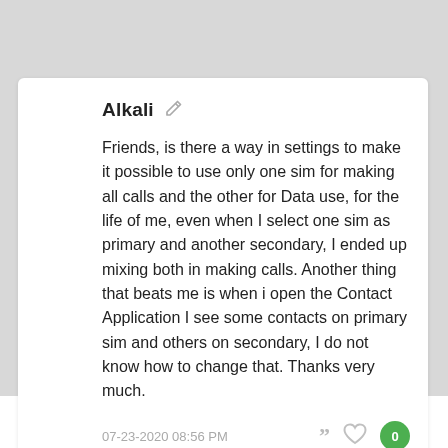Alkali
Friends, is there a way in settings to make it possible to use only one sim for making all calls and the other for Data use, for the life of me, even when I select one sim as primary and another secondary, I ended up mixing both in making calls. Another thing that beats me is when i open the Contact Application I see some contacts on primary sim and others on secondary, I do not know how to change that. Thanks very much.
07-23-2020 08:56 PM